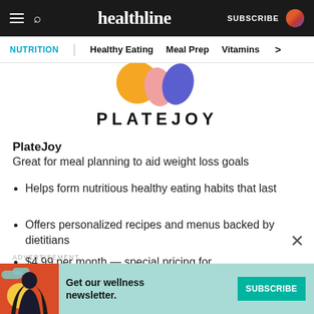healthline — NUTRITION | Healthy Eating | Meal Prep | Vitamins
[Figure (logo): PlateJoy logo: colorful overlapping leaf/petal shapes in orange, pink, and purple above the text PLATEJOY in bold black letters]
PlateJoy
Great for meal planning to aid weight loss goals
Helps form nutritious healthy eating habits that last
Offers personalized recipes and menus backed by dietitians
$4.99 per month — special pricing for
ADVERTISEMENT
[Figure (infographic): Advertisement banner: teal background with illustrated woman with long black hair on orange/red background on left side, text 'Get our wellness newsletter.' and teal Subscribe button]